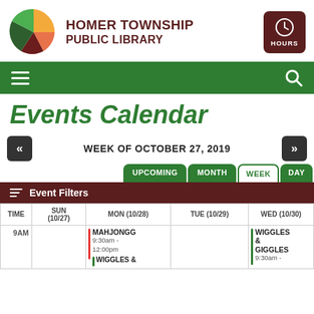[Figure (logo): Homer Township Public Library logo — circular pie-chart style with orange, green, dark green, and dark red segments]
HOMER TOWNSHIP PUBLIC LIBRARY
[Figure (other): Green navigation bar with hamburger menu icon on left and search magnifying glass icon on right]
Events Calendar
WEEK OF OCTOBER 27, 2019
UPCOMING  MONTH  WEEK  DAY
Event Filters
| TIME | SUN (10/27) | MON (10/28) | TUE (10/29) | WED (10/30) |
| --- | --- | --- | --- | --- |
| 9AM |  | MAHJONGG
9:30am - 12:00pm
WIGGLES & |  | WIGGLES & GIGGLES
9:30am - |